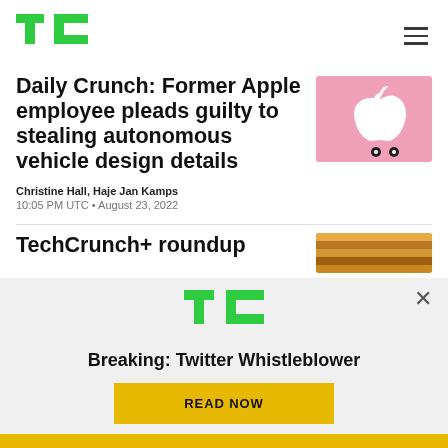TechCrunch
Daily Crunch: Former Apple employee pleads guilty to stealing autonomous vehicle design details
Christine Hall, Haje Jan Kamps
10:05 PM UTC • August 23, 2022
[Figure (illustration): Pink background with white Apple logo and small decorative characters at the bottom]
[Figure (illustration): Partial view of a wooden pencil on orange/brown background]
[Figure (logo): TechCrunch TC logo in green]
Breaking: Twitter Whistleblower
READ NOW